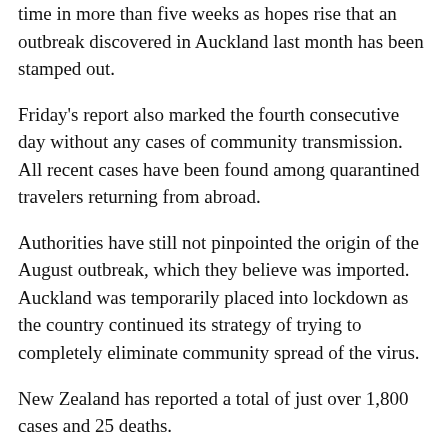time in more than five weeks as hopes rise that an outbreak discovered in Auckland last month has been stamped out.
Friday's report also marked the fourth consecutive day without any cases of community transmission. All recent cases have been found among quarantined travelers returning from abroad.
Authorities have still not pinpointed the origin of the August outbreak, which they believe was imported. Auckland was temporarily placed into lockdown as the country continued its strategy of trying to completely eliminate community spread of the virus.
New Zealand has reported a total of just over 1,800 cases and 25 deaths.
BEIJING — China says imported coronavirus cases climbed to 32 over the previous 24 hours.